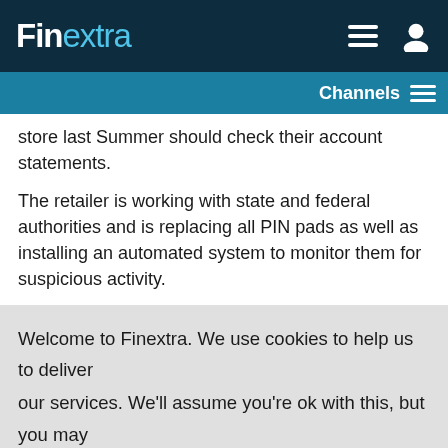Finextra
Channels
store last Summer should check their account statements.
The retailer is working with state and federal authorities and is replacing all PIN pads as well as installing an automated system to monitor them for suspicious activity.
Welcome to Finextra. We use cookies to help us to deliver our services. We'll assume you're ok with this, but you may change your preferences at our Cookie Centre. Please read our Privacy Policy.
Accept